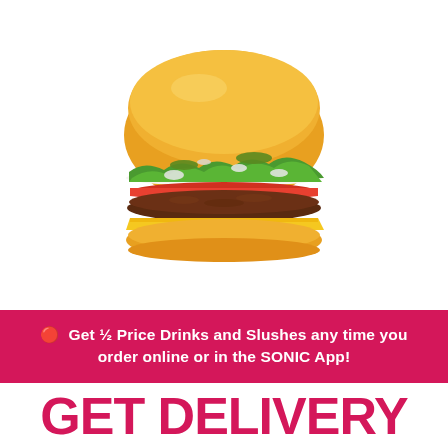[Figure (photo): A cheeseburger with lettuce, tomato, onion, pickle, and cheese on a golden bun, photographed on a white background.]
🔴 Get ½ Price Drinks and Slushes any time you order online or in the SONIC App!
GET DELIVERY